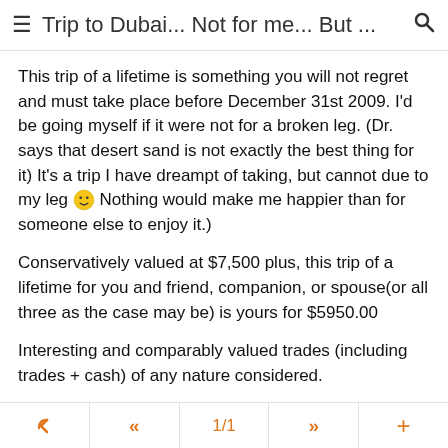≡ Trip to Dubai... Not for me... But ... 🔍
This trip of a lifetime is something you will not regret and must take place before December 31st 2009. I'd be going myself if it were not for a broken leg. (Dr. says that desert sand is not exactly the best thing for it) It's a trip I have dreampt of taking, but cannot due to my leg 🙂 Nothing would make me happier than for someone else to enjoy it.)
Conservatively valued at $7,500 plus, this trip of a lifetime for you and friend, companion, or spouse(or all three as the case may be) is yours for $5950.00
Interesting and comparably valued trades (including trades + cash) of any nature considered.
Inquires may be made to davisDOTcpATgmailDOTcom (replacing DOT with "." and AT with "@", no quotations)
↩  «  1/1  »  +